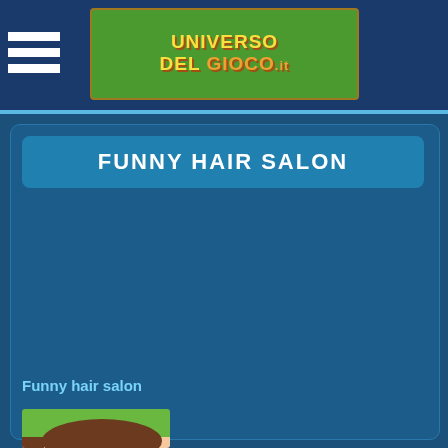Universo del Gioco
FUNNY HAIR SALON
Funny hair salon
[Figure (screenshot): Thumbnail image of Funny hair salon game showing a cartoon character face with brown hair and pink/magenta lip/kiss marks on a peach skin background with green background at top]